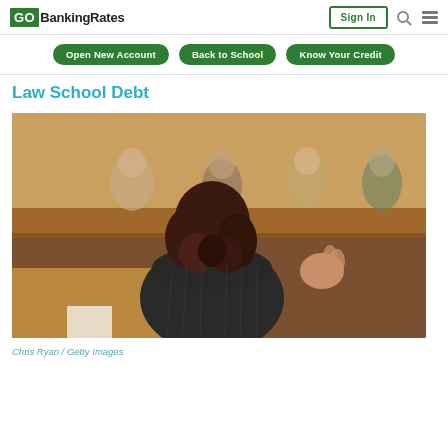GOBankingRates | Sign In
Open New Account | Back to School | Know Your Credit
Law School Debt
[Figure (photo): A woman in a dark pinstripe suit seen from behind, speaking and gesturing with her right hand raised in what appears to be a courtroom setting. Several people are visible in the background, blurred, sitting in what appear to be jury or gallery seats.]
Chris Ryan / Getty Images